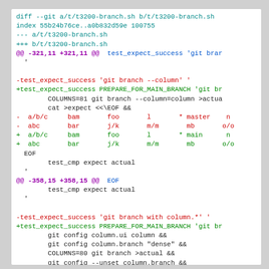[Figure (screenshot): Git diff output showing changes to t/t3200-branch.sh, with colored lines indicating removed and added lines. Red lines show removed content, green lines show added content, teal/cyan for diff headers, and purple for @@ hunk markers.]